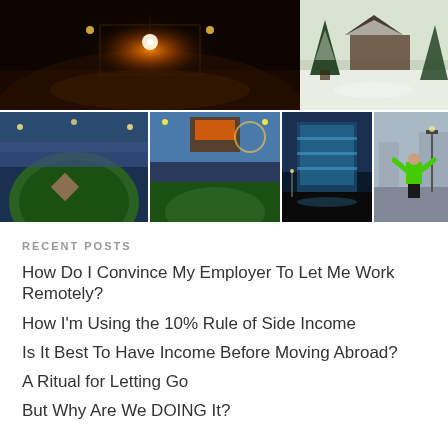[Figure (photo): Top photo grid: left image shows a lit baseball/softball field at night with orange lights; right image shows a snowy scene with pine trees and a building]
[Figure (photo): Bottom photo grid: four images - baseball stadium aerial view, baseball stadium with crowd and scoreboard, modern building exterior at night, person in green jacket standing with arms raised in foggy street]
RECENT POSTS
How Do I Convince My Employer To Let Me Work Remotely?
How I'm Using the 10% Rule of Side Income
Is It Best To Have Income Before Moving Abroad?
A Ritual for Letting Go
But Why Are We DOING It?